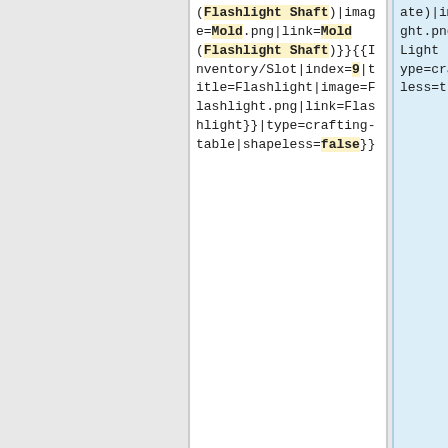（Flashlight Shaft）|image=Mold.png|link=Mold (Flashlight Shaft)}}{{Inventory/Slot|index=9|title=Flashlight|image=Flashlight.png|link=Flashlight}}|type=crafting-table|shapeless=false}}
ate)|image=Scuba_mask_light.png|link=Scuba Mask Light (Intermediate)}}|type=crafting-table|shapeless=true}}